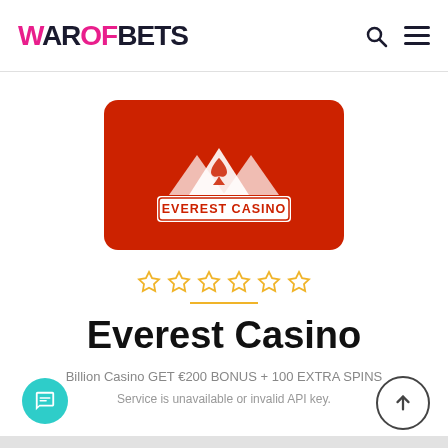WAROFBETS
[Figure (logo): Everest Casino logo on red rounded rectangle background with mountain/spade symbol and 'EVEREST CASINO' text]
[Figure (other): Five empty gold star rating icons]
Everest Casino
Billion Casino GET €200 BONUS + 100 EXTRA SPINS
Service is unavailable or invalid API key.